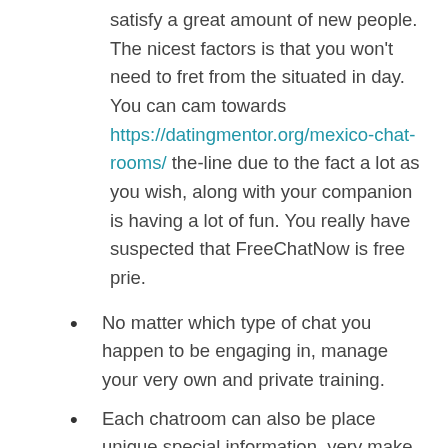satisfy a great amount of new people. The nicest factors is that you won't need to fret from the situated in day. You can cam towards https://datingmentor.org/mexico-chat-rooms/ the-line due to the fact a lot as you wish, along with your companion is having a lot of fun. You really have suspected that FreeChatNow is free prie.
No matter which type of chat you happen to be engaging in, manage your very own and private training.
Each chatroom can also be place unique special information, very make sure to take a look. [newline]There are various totally free sexting other sites and you can programs available with the-line and all her or him has their very own professionals and you will cons.
This site likewise really works inside the a great ways all over cellphone devices and you may